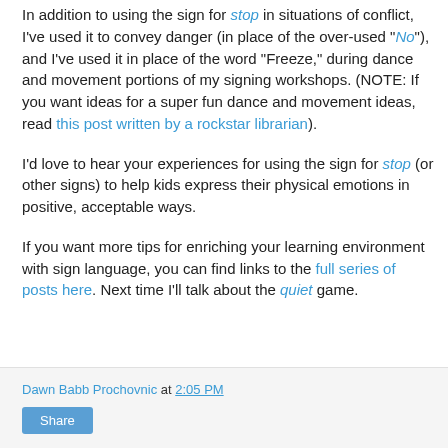In addition to using the sign for stop in situations of conflict, I've used it to convey danger (in place of the over-used "No"), and I've used it in place of the word "Freeze," during dance and movement portions of my signing workshops. (NOTE: If you want ideas for a super fun dance and movement ideas, read this post written by a rockstar librarian).
I'd love to hear your experiences for using the sign for stop (or other signs) to help kids express their physical emotions in positive, acceptable ways.
If you want more tips for enriching your learning environment with sign language, you can find links to the full series of posts here. Next time I'll talk about the quiet game.
Dawn Babb Prochovnic at 2:05 PM